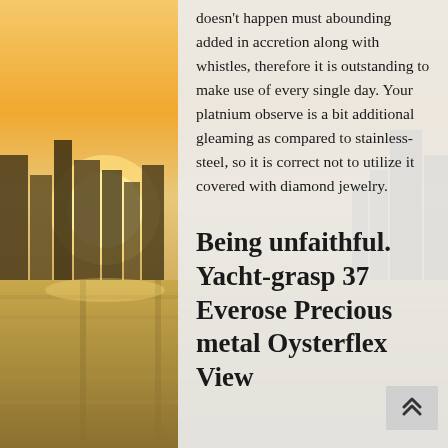[Figure (photo): Background photo of a city skyline at golden hour/sunset with buildings and a waterfront boardwalk. The image is partially obscured by a semi-transparent light gray content panel on the right side.]
doesn't happen must abounding added in accretion along with whistles, therefore it is outstanding to make use of every single day. Your platnium observe is a bit additional gleaming as compared to stainless-steel, so it is correct not to utilize it covered with diamond jewelry.
Being unfaithful. Yacht-grasp 37 Everose Precious metal Oysterflex View